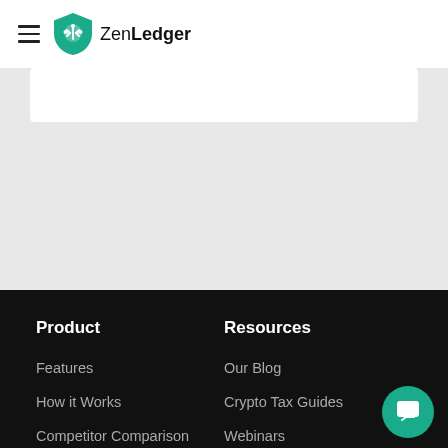ZenLedger
Product
Resources
Features
How it Works
Competitor Comparison
Exchanges
Our Blog
Crypto Tax Guides
Webinars
Affiliate Program